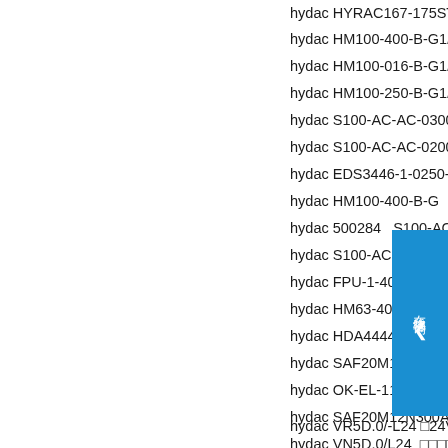hydac HYRAC167-175ST KH...
hydac HM100-400-B-G1/2-F...
hydac HM100-016-B-G1/2-F...
hydac HM100-250-B-G1/2-F...
hydac S100-AC-AC-0300
hydac S100-AC-AC-0200
hydac EDS3446-1-0250-000-...
hydac HM100-400-B-G...
hydac 500284   S100-AC...
hydac S100-AC-AC-010...
hydac FPU-1-400FM2.5...
hydac HM63-400-R-M20 1....
hydac HDA4444-A-400-000-...
hydac SAF20M12N200A-S1...
hydac OK-EL-11L/2.1/M/400...
hydac SAF20M12N300A-S1...
hydac VR5D.0/-L24 □24V 44...
hydac VN5D.0/L24  □□□□□□
hydac HDA3840-A-350-14...